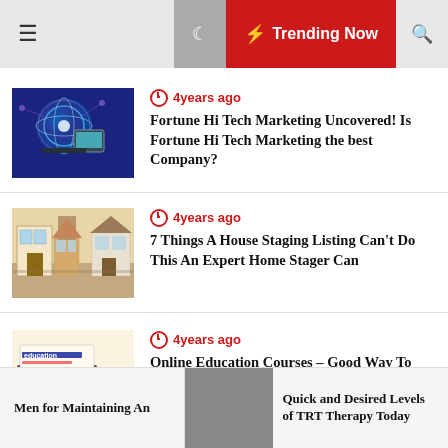☰  🌙  ⚡ Trending Now  🔍
4years ago — Fortune Hi Tech Marketing Uncovered! Is Fortune Hi Tech Marketing the best Company?
4years ago — 7 Things A House Staging Listing Can't Do This An Expert Home Stager Can
4years ago — Online Education Courses – Good Way To Increase Your Skills
Men for Maintaining An | Quick and Desired Levels of TRT Therapy Today